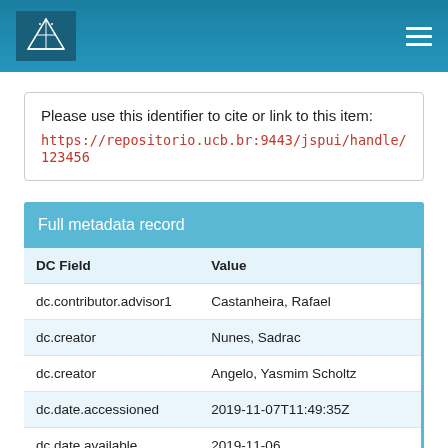Navigation bar with UCB repository logo and menu
Please use this identifier to cite or link to this item:
https://repositorio.ucb.br:9443/jspui/handle/12345...
| DC Field | Value |
| --- | --- |
| dc.contributor.advisor1 | Castanheira, Rafael |
| dc.creator | Nunes, Sadrac |
| dc.creator | Angelo, Yasmim Scholtz |
| dc.date.accessioned | 2019-11-07T11:49:35Z |
| dc.date.available | 2019-11-06 |